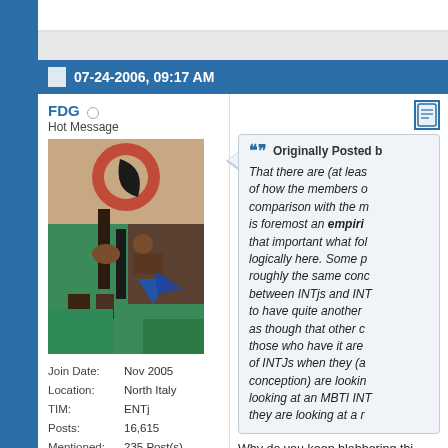07-24-2006, 09:17 AM
FDG
Hot Message
[Figure (illustration): Abstract painting used as forum avatar]
Join Date: Nov 2005
Location: North Italy
TIM: ENTj
Posts: 16,615
Mentioned: 235 Post(s)
Tagged: 0 Thread(s)
Originally Posted b...
That there are (at least) two different conceptions of how the members on here understand INTJness in comparison with the m... is foremost an empirical... that important what foll... logically here. Some pe... roughly the same conc... between INTjs and INT... to have quite another c... as though that other co... those who have it are M... of INTJs when they (ad... conception) are looking... looking at an MBTI INT... they are looking at a re...
Why do you keep blabbering thi...